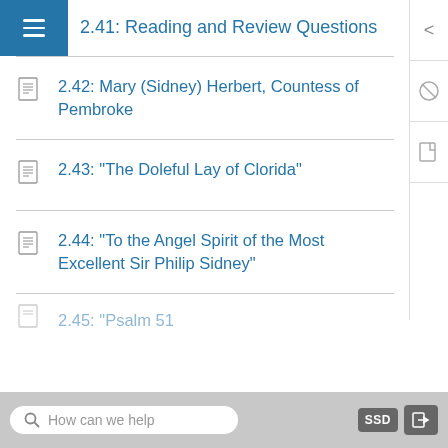2.41: Reading and Review Questions
2.42: Mary (Sidney) Herbert, Countess of Pembroke
2.43: "The Doleful Lay of Clorida"
2.44: "To the Angel Spirit of the Most Excellent Sir Philip Sidney"
2.45: "Psalm 51"
How can we help   SSD